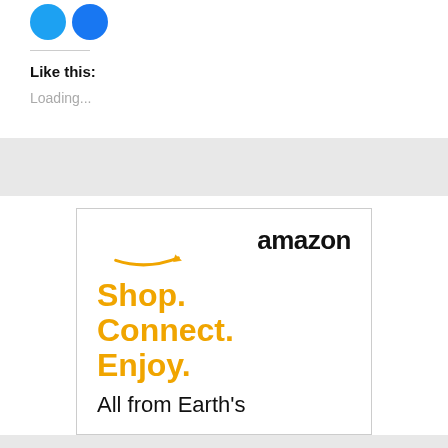[Figure (other): Two blue social media icon circles (Twitter and Facebook)]
Like this:
Loading...
[Figure (other): Amazon advertisement with logo, orange text 'Shop. Connect. Enjoy.' and black text 'All from Earth's']